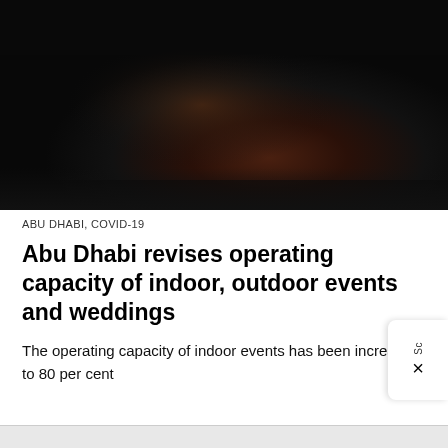[Figure (photo): Dark blurred photo of an indoor event venue with stage lighting, very dark with warm brown/amber tones in the center]
ABU DHABI, COVID-19
Abu Dhabi revises operating capacity of indoor, outdoor events and weddings
The operating capacity of indoor events has been increased to 80 per cent